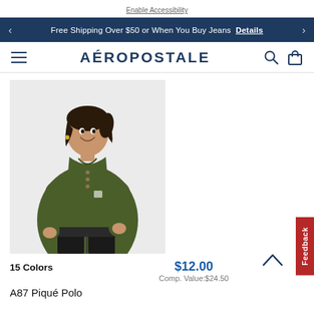Enable Accessibility
Free Shipping Over $50 or When You Buy Jeans  Details
AÉROPOSTALE
[Figure (photo): Woman wearing a dark olive green piqué polo shirt with black jeans, smiling, posing against a light gray background.]
15 Colors
$12.00
Comp. Value: $24.50
A87 Piqué Polo